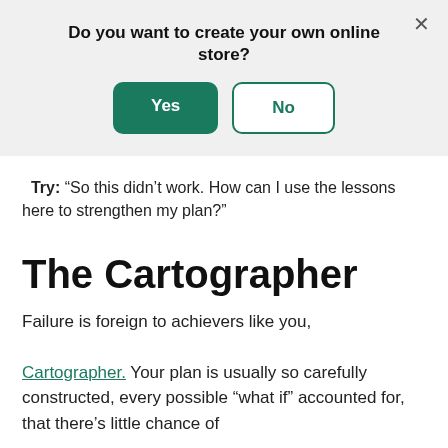[Figure (screenshot): Dialog box with question 'Do you want to create your own online store?' and two buttons: 'Yes' (green filled) and 'No' (outlined), with an X close button in top right corner.]
Try: “So this didn’t work. How can I use the lessons here to strengthen my plan?”
The Cartographer
Failure is foreign to achievers like you, Cartographer. Your plan is usually so carefully constructed, every possible “what if” accounted for, that there’s little chance of